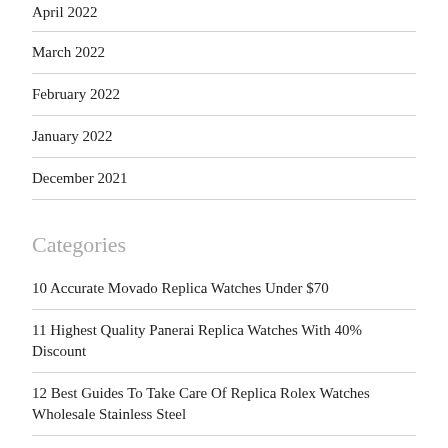April 2022
March 2022
February 2022
January 2022
December 2021
Categories
10 Accurate Movado Replica Watches Under $70
11 Highest Quality Panerai Replica Watches With 40% Discount
12 Best Guides To Take Care Of Replica Rolex Watches Wholesale Stainless Steel